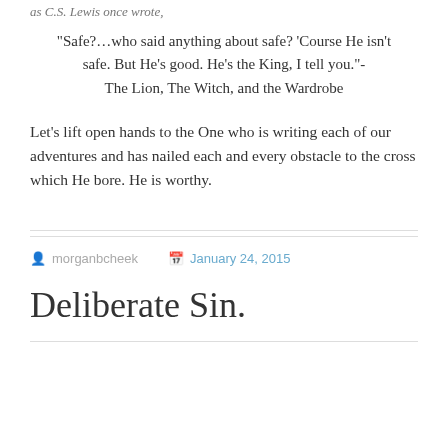as C.S. Lewis once wrote,
“Safe?…who said anything about safe? ‘Course He isn’t safe. But He’s good. He’s the King, I tell you.”- The Lion, The Witch, and the Wardrobe
Let’s lift open hands to the One who is writing each of our adventures and has nailed each and every obstacle to the cross which He bore. He is worthy.
morganbcheek  January 24, 2015
Deliberate Sin.